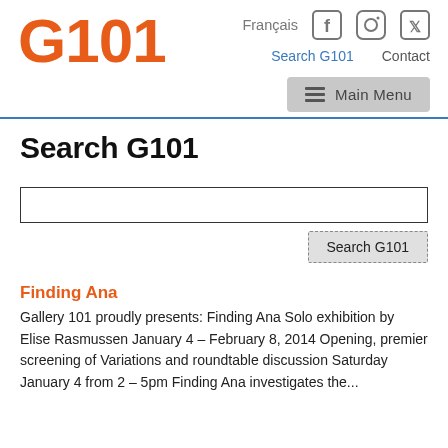G101
Français
Search G101
Search G101  Contact
Main Menu
Search G101
Search G101
Finding Ana
Gallery 101 proudly presents: Finding Ana Solo exhibition by Elise Rasmussen January 4 – February 8, 2014 Opening, premier screening of Variations and roundtable discussion Saturday January 4 from 2 – 5pm Finding Ana investigates the...